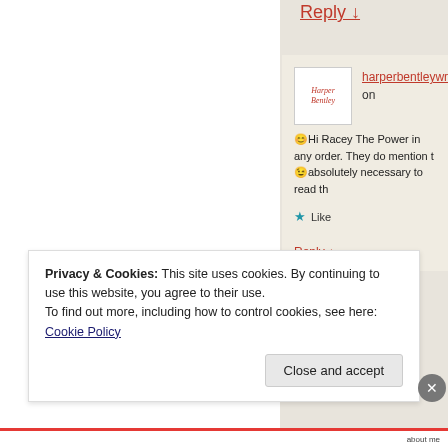Reply ↓
harperbentleywrites on 😊Hi Racey The Power in any order. They do mention t 😉absolutely necessary to read th
★ Like
Reply ↓
Privacy & Cookies: This site uses cookies. By continuing to use this website, you agree to their use.
To find out more, including how to control cookies, see here:
Cookie Policy
Close and accept